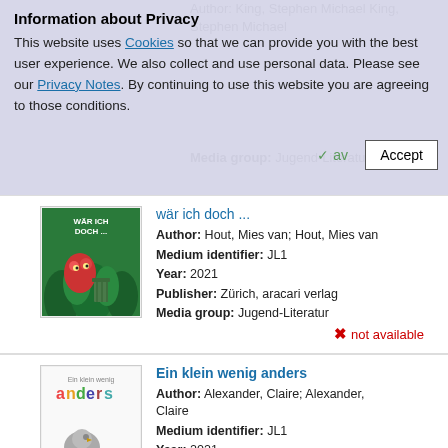Information about Privacy
This website uses Cookies so that we can provide you with the best user experience. We also collect and use personal data. Please see our Privacy Notes. By continuing to use this website you are agreeing to those conditions.
[Figure (screenshot): Book cover for 'Wär ich doch...' - green illustrated cover with a cartoon creature]
wär ich doch ...
Author: Hout, Mies van; Hout, Mies van
Medium identifier: JL1
Year: 2021
Publisher: Zürich, aracari verlag
Media group: Jugend-Literatur
not available
[Figure (screenshot): Book cover for 'Ein klein wenig anders' - colorful text cover with a small bird illustration]
Ein klein wenig anders
Author: Alexander, Claire; Alexander, Claire
Medium identifier: JL1
Year: 2021